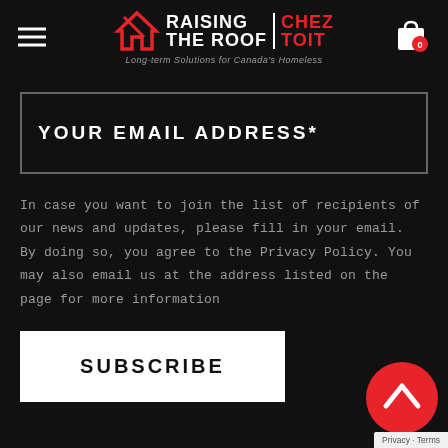Raising the Roof | Chez Toit — Long-term Solutions for Canada's Homeless
YOUR EMAIL ADDRESS*
In case you want to join the list of recipients of our news and updates, please fill in your email. By doing so, you agree to the Privacy Policy. You may also email us at the address listed on the page for more information
SUBSCRIBE